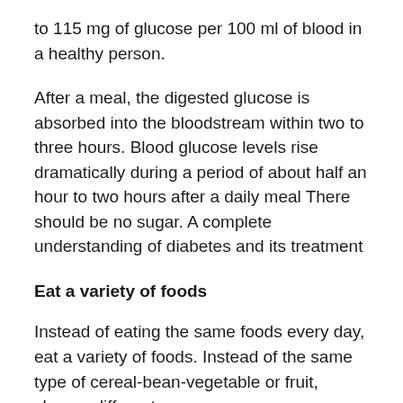to 115 mg of glucose per 100 ml of blood in a healthy person.
After a meal, the digested glucose is absorbed into the bloodstream within two to three hours. Blood glucose levels rise dramatically during a period of about half an hour to two hours after a daily meal There should be no sugar. A complete understanding of diabetes and its treatment
Eat a variety of foods
Instead of eating the same foods every day, eat a variety of foods. Instead of the same type of cereal-bean-vegetable or fruit, choose different